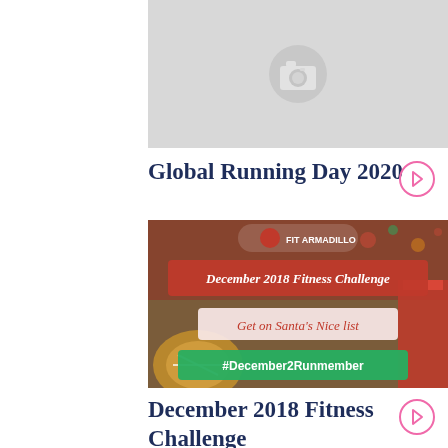[Figure (photo): Placeholder image with light gray background and camera icon in center]
Global Running Day 2020
[Figure (photo): December 2018 Fitness Challenge promotional image with holiday decorations, red banner reading 'December 2018 Fitness Challenge', script text 'Get on Santa's Nice list', green banner with '#December2Runmember', and Fit Armadillo logo]
December 2018 Fitness Challenge